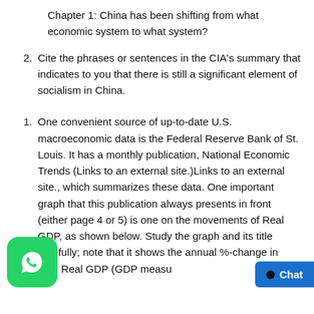Chapter 1: China has been shifting from what economic system to what system?
2. Cite the phrases or sentences in the CIA's summary that indicates to you that there is still a significant element of socialism in China.
1. One convenient source of up-to-date U.S. macroeconomic data is the Federal Reserve Bank of St. Louis. It has a monthly publication, National Economic Trends (Links to an external site.)Links to an external site., which summarizes these data. One important graph that this publication always presents in front (either page 4 or 5) is one on the movements of Real GDP, as shown below. Study the graph and its title carefully; note that it shows the annual %-change in U.S. Real GDP (GDP measu